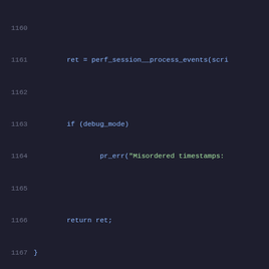[Figure (screenshot): Source code editor showing C code lines 1160-1181. Dark theme with blue keywords and syntax highlighting. Code shows a struct definition for script_spec and related functions.]